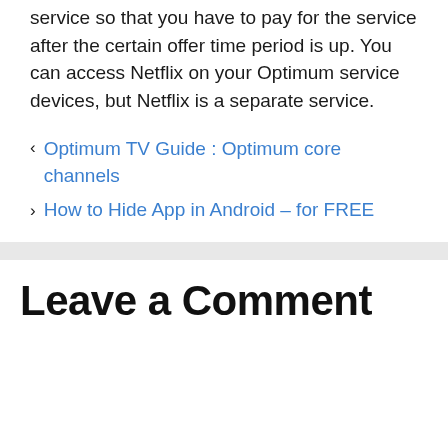service so that you have to pay for the service after the certain offer time period is up. You can access Netflix on your Optimum service devices, but Netflix is a separate service.
< Optimum TV Guide : Optimum core channels
> How to Hide App in Android – for FREE
Leave a Comment